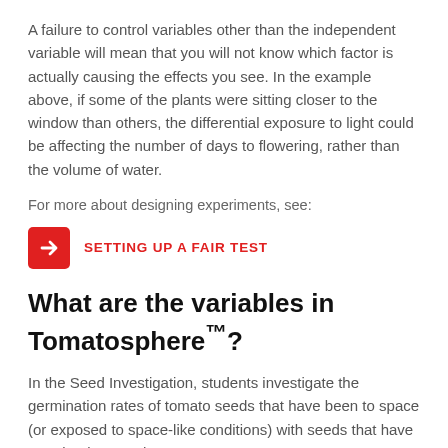A failure to control variables other than the independent variable will mean that you will not know which factor is actually causing the effects you see. In the example above, if some of the plants were sitting closer to the window than others, the differential exposure to light could be affecting the number of days to flowering, rather than the volume of water.
For more about designing experiments, see:
[Figure (infographic): Red rounded-square icon with a white right-arrow, followed by bold red uppercase text: SETTING UP A FAIR TEST]
What are the variables in Tomatosphere™?
In the Seed Investigation, students investigate the germination rates of tomato seeds that have been to space (or exposed to space-like conditions) with seeds that have remained on Earth.
The variables in the Seed Investigation are: